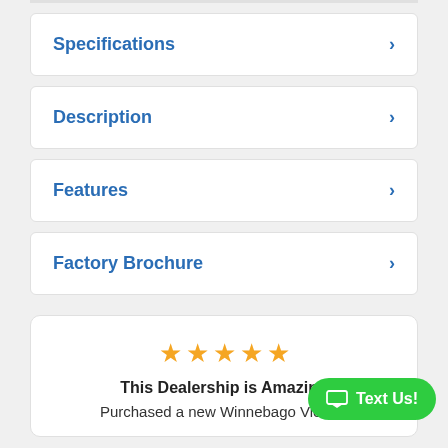Specifications
Description
Features
Factory Brochure
This Dealership is Amazing
Purchased a new Winnebago View in